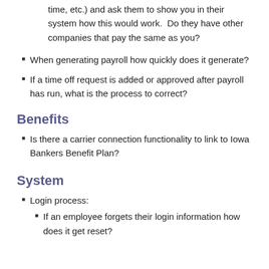time, etc.) and ask them to show you in their system how this would work.  Do they have other companies that pay the same as you?
When generating payroll how quickly does it generate?
If a time off request is added or approved after payroll has run, what is the process to correct?
Benefits
Is there a carrier connection functionality to link to Iowa Bankers Benefit Plan?
System
Login process:
If an employee forgets their login information how does it get reset?